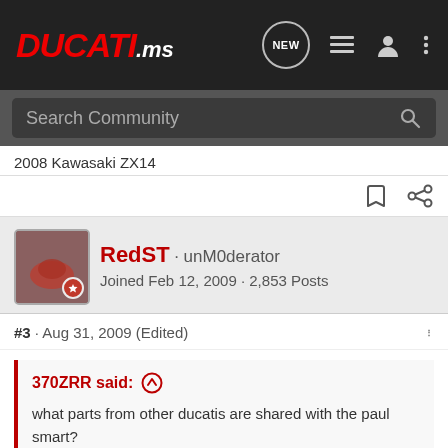DUCATI.ms — navigation bar with NEW, list, user, and menu icons
Search Community
2008 Kawasaki ZX14
RedST · unM0derator
Joined Feb 12, 2009 · 2,853 Posts
#3 · Aug 31, 2009 (Edited)
370ZRR said: ↑

what parts from other ducatis are shared with the paul smart?

Fixing up and modifying a crashed Paul smart ps1000le and I need pretty much everything.

does anyone know what other bikes share the same parts – oblin